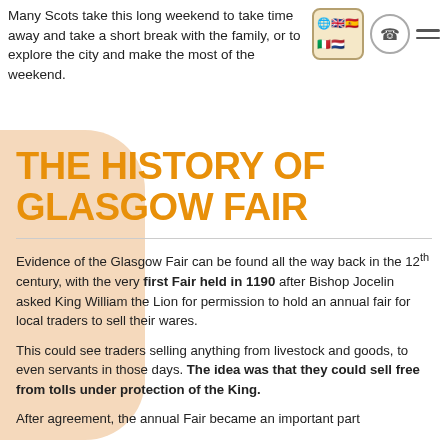Many Scots take this long weekend to take time away and take a short break with the family, or to explore the city and make the most of the weekend.
THE HISTORY OF GLASGOW FAIR
Evidence of the Glasgow Fair can be found all the way back in the 12th century, with the very first Fair held in 1190 after Bishop Jocelin asked King William the Lion for permission to hold an annual fair for local traders to sell their wares.
This could see traders selling anything from livestock and goods, to even servants in those days. The idea was that they could sell free from tolls under protection of the King.
After agreement, the annual Fair became an important part